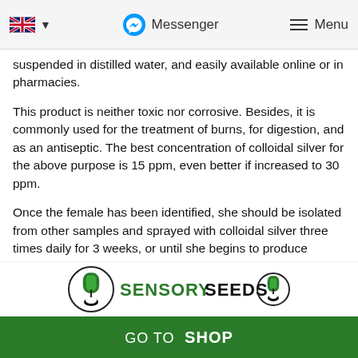UK flag | Messenger | Menu
suspended in distilled water, and easily available online or in pharmacies.
This product is neither toxic nor corrosive. Besides, it is commonly used for the treatment of burns, for digestion, and as an antiseptic. The best concentration of colloidal silver for the above purpose is 15 ppm, even better if increased to 30 ppm.
Once the female has been identified, she should be isolated from other samples and sprayed with colloidal silver three times daily for 3 weeks, or until she begins to produce pockets of male pollen.
After 3-4 weeks, the pollen can be collected. Let's
[Figure (logo): Sensory Seeds logo with circular leaf emblem on both sides, green text SENSORY and black text SEEDS]
GO TO SHOP